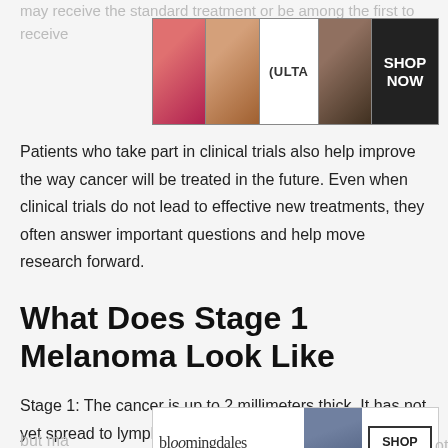may receive the standard treatment or be among the first to receive
[Figure (photo): ULTA beauty advertisement banner with makeup images and SHOP NOW button]
Patients who take part in clinical trials also help improve the way cancer will be treated in the future. Even when clinical trials do not lead to effective new treatments, they often answer important questions and help move research forward.
What Does Stage 1 Melanoma Look Like
Stage 1: The cancer is up to 2 millimeters thick. It has not yet spread to lymph nodes or other sites, and it may or may not be ulcerated. Stage 2: The cancer is at least thick but ma ulcerat other
[Figure (photo): Bloomingdale's advertisement banner with View Today's Top Deals and SHOP NOW button, with CLOSE button overlay]